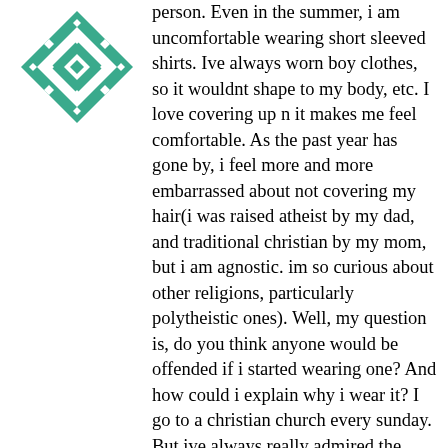[Figure (logo): Green and white geometric quilt-pattern diamond logo]
person. Even in the summer, i am uncomfortable wearing short sleeved shirts. Ive always worn boy clothes, so it wouldnt shape to my body, etc. I love covering up n it makes me feel comfortable. As the past year has gone by, i feel more and more embarrassed about not covering my hair(i was raised atheist by my dad, and traditional christian by my mom, but i am agnostic. im so curious about other religions, particularly polytheistic ones). Well, my question is, do you think anyone would be offended if i started wearing one? And how could i explain why i wear it? I go to a christian church every sunday. But ive always really admired the hijab. I guess, whats your advice for me? I